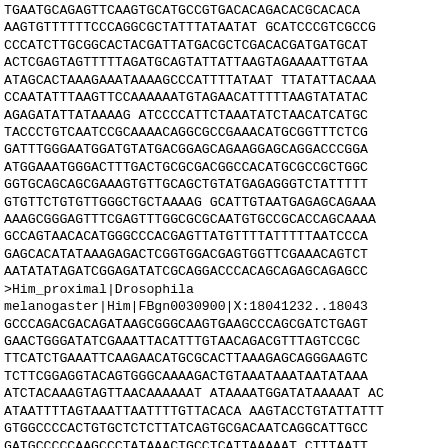TGAATGCAGAGTTCAAGTGCATGCCGTGACACAGACACGCACACA
AAGTGTTTTTCCCAGGCGCTATTTATAATATGCATCCCGTCGCCG
CCCATCTTGCGGCACTACGATTATGACGCTCGACACGATGATGCAT
ACTCGAGTAGTTTTAGATGCAGTATTATTAAGTAGAAAATTGTAA
ATAGCACTAAAGAAATAAAAGCCCATTTTATAATTTATATTACAAA
CCAATATTTAAGTTCCAAAAAAATGTAGAACATTTTTAAGTATATAC
AGAGATATTATAAAAGATCCCCATTCTAAATATCTAACATCATGC
TACCCTGTCAATCCGCAAAACAGGCGCCGAAACATGCGGTTTCTCG
GATTTGGGAATGGATGTATGACGGAGCAGAAGGAGCAGGACCCGGA
ATGGAAATGGGACTTTGACTGCGCGACGGCCACATGCGCCGCTGGC
GGTGCAGCAGCGAAAGTGTTGCAGCTGTATGAGAGGGTCTATTTTT
GTGTTCTGTGTTGGGCTGCTAAAAGGCATTGTAATGAGAGCAGAAA
AAAGCGGGAGTTTCGAGTTTGGCGCGCAATGTGCCGCACCAGCAAAA
GCCAGTAACACATGGGCCCACGAGTTATGTTTTATTTTTAATCCCA
GAGCACATATAAAGAGACTCGGTGGACGAGTGGTTCGAAACATGCT
AATATATAGATCGGAGATATCGCAGGACCCACAGCAGAGCAGAGCC
>Him_proximal|Drosophila
melanogaster|Him|FBgn0030900|X:18041232..18043
GCCCAGACGACAGATAAGCGGGCAAGTGAAGCCCAGCGATCTGAGT
GAACTGGGATATCGAAATTACATTTGTAACAGACGTTTAGTCCGC
TTCATCTGAAATTCAAGAACATGCGCACTTAAAGAGCAGGGAAGTC
TCTTCGGAGGTACAGTGGGCAAAAGACTGTAAATAAATAATATAAA
ATCTACAAGTAGTTAACAAAAAATATAAAATGGATATAAAAATAC
ATAATTTTAGTAAATTAATTTTGTTACACAAGTACCTGTATTATT
GTGGCCCCACTGTGCTCTCTTATCAGTGCGACAATCAGGCATTGCC
GATGCCCCCAAGCCCTATAAACTGCCTCATTAAAAATCTTTAATT